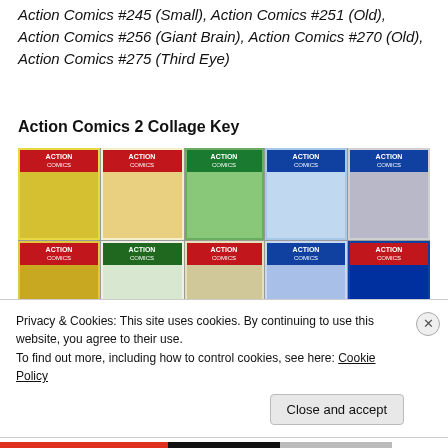Action Comics #245 (Small), Action Comics #251 (Old), Action Comics #256 (Giant Brain), Action Comics #270 (Old), Action Comics #275 (Third Eye)
Action Comics 2 Collage Key
[Figure (photo): A collage of Action Comics comic book covers arranged in two rows of five, featuring Superman in various scenes. The covers shown are from Action Comics issues with red and yellow logos.]
Privacy & Cookies: This site uses cookies. By continuing to use this website, you agree to their use.
To find out more, including how to control cookies, see here: Cookie Policy
Close and accept